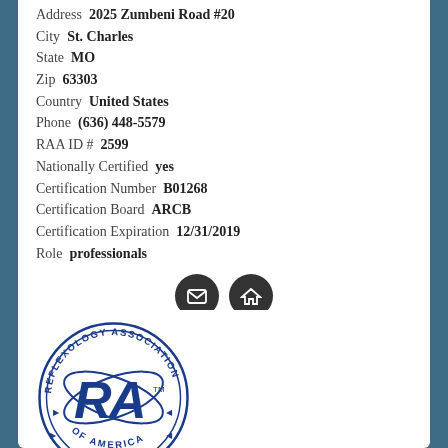Address  2025 Zumbeni Road #20
City  St. Charles
State  MO
Zip  63303
Country  United States
Phone  (636) 448-5579
RAA ID #  2599
Nationally Certified  yes
Certification Number  B01268
Certification Board  ARCB
Certification Expiration  12/31/2019
Role  professionals
[Figure (other): Email and home icon buttons in dark circles]
[Figure (logo): Reflexology Association of America circular logo with RA letters in blue]